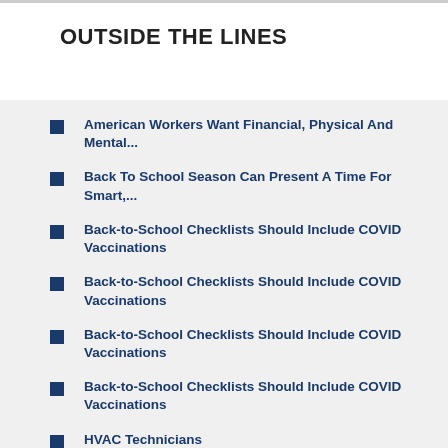OUTSIDE THE LINES
American Workers Want Financial, Physical And Mental...
Back To School Season Can Present A Time For Smart,...
Back-to-School Checklists Should Include COVID Vaccinations
Back-to-School Checklists Should Include COVID Vaccinations
Back-to-School Checklists Should Include COVID Vaccinations
Back-to-School Checklists Should Include COVID Vaccinations
HVAC Technicians
Weathering A Storm Or Power Outage Safely